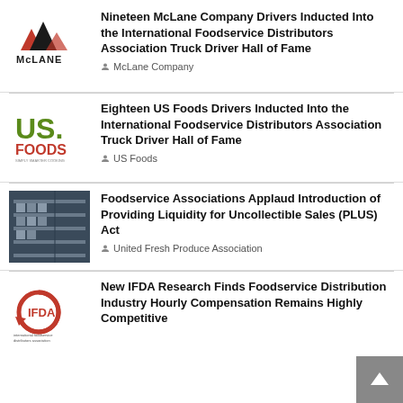[Figure (logo): McLane Company logo with red/black mountain triangles and MCLANE text]
Nineteen McLane Company Drivers Inducted Into the International Foodservice Distributors Association Truck Driver Hall of Fame
McLane Company
[Figure (logo): US Foods logo - green US. with red FOODS text]
Eighteen US Foods Drivers Inducted Into the International Foodservice Distributors Association Truck Driver Hall of Fame
US Foods
[Figure (photo): Photo of a warehouse/foodservice storage facility with shelves]
Foodservice Associations Applaud Introduction of Providing Liquidity for Uncollectible Sales (PLUS) Act
United Fresh Produce Association
[Figure (logo): IFDA logo - red circular arrow with IFDA text and International Foodservice Distributors]
New IFDA Research Finds Foodservice Distribution Industry Hourly Compensation Remains Highly Competitive